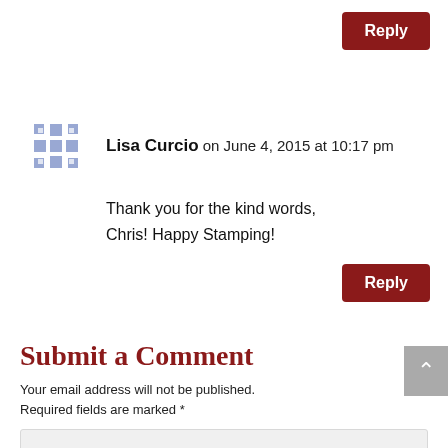Reply
Lisa Curcio on June 4, 2015 at 10:17 pm
Thank you for the kind words, Chris! Happy Stamping!
Reply
Submit a Comment
Your email address will not be published. Required fields are marked *
Comment *